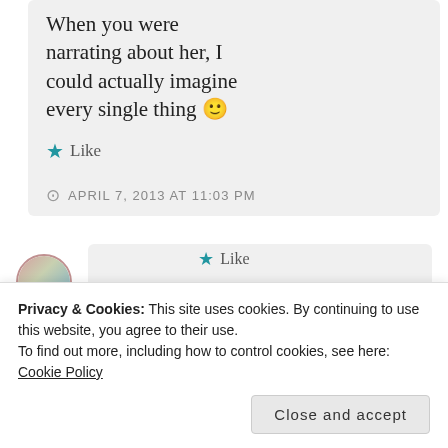Loads of hugs to her! When you were narrating about her, I could actually imagine every single thing 🙂
★ Like
APRIL 7, 2013 AT 11:03 PM
★ Like
Privacy & Cookies: This site uses cookies. By continuing to use this website, you agree to their use. To find out more, including how to control cookies, see here: Cookie Policy